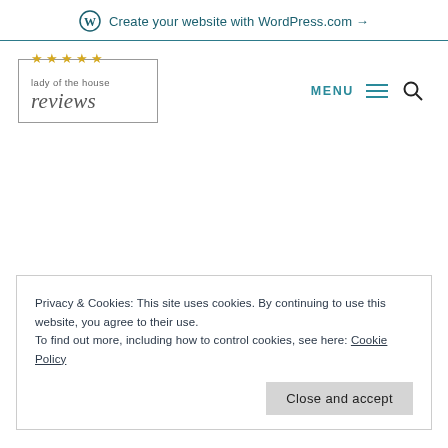Create your website with WordPress.com →
[Figure (logo): Lady of the House Reviews logo with five yellow stars, boxed border, script font]
MENU
Privacy & Cookies: This site uses cookies. By continuing to use this website, you agree to their use. To find out more, including how to control cookies, see here: Cookie Policy
Close and accept